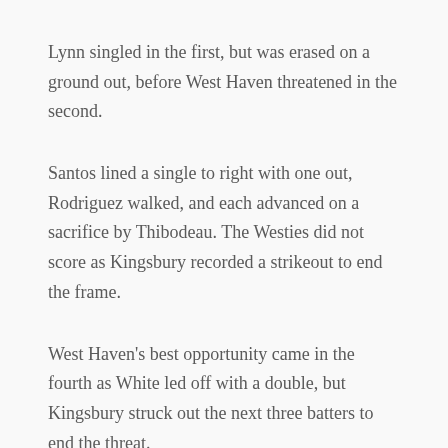Lynn singled in the first, but was erased on a ground out, before West Haven threatened in the second.
Santos lined a single to right with one out, Rodriguez walked, and each advanced on a sacrifice by Thibodeau. The Westies did not score as Kingsbury recorded a strikeout to end the frame.
West Haven's best opportunity came in the fourth as White led off with a double, but Kingsbury struck out the next three batters to end the threat.